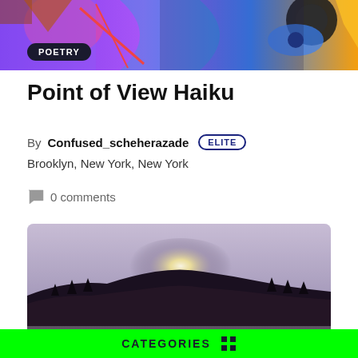[Figure (illustration): Colorful abstract artwork banner at top of page with vibrant purple, blue, red colors and a circular element]
POETRY
Point of View Haiku
By Confused_scheherazade ELITE
Brooklyn, New York, New York
0 comments
[Figure (photo): Landscape photograph showing sunlight bursting over a dark hillside with cracked dry earth in the foreground, dramatic rays of light]
OPINION
CATEGORIES